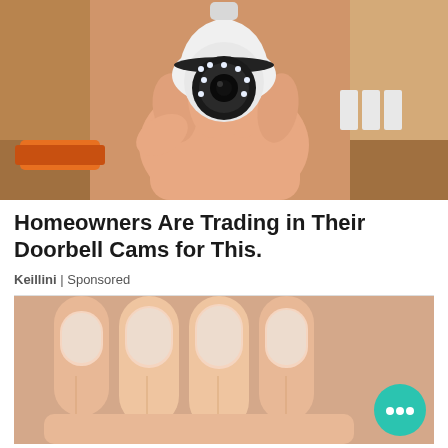[Figure (photo): A hand holding a white security camera shaped like a light bulb, with visible LED ring and lens, against a cardboard box background with orange tool visible]
Homeowners Are Trading in Their Doorbell Cams for This.
Keillini | Sponsored
[Figure (photo): Close-up of fingernails/hand with natural nails, skin texture visible]
[Figure (infographic): Teal/green circular chat bubble icon with three dots]